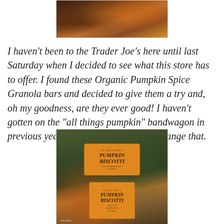[Figure (photo): Partial view of a food item, warm orange and brown tones, appears to be pumpkin spice product packaging or food]
I haven't been to the Trader Joe's here until last Saturday when I decided to see what this store has to offer. I found these Organic Pumpkin Spice Granola bars and decided to give them a try and, oh my goodness, are they ever good! I haven't gotten on the "all things pumpkin" bandwagon in previous years, but these babies may change that.
[Figure (photo): Trader Joe's Pumpkin Biscotti product in clear plastic container with orange label showing pumpkin illustration, placed in a basket with fall decorations including pine cones and pumpkins]